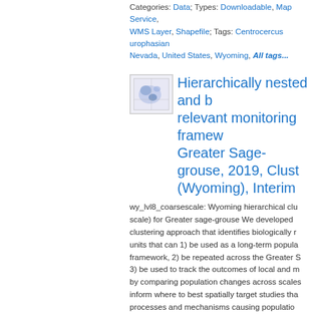Categories: Data; Types: Downloadable, Map Service, WMS Layer, Shapefile; Tags: Centrocercus urophasianus, Nevada, United States, Wyoming, All tags...
[Figure (map): Small thumbnail map showing Wyoming region with blue shaded areas]
Hierarchically nested and relevant monitoring framework Greater Sage-grouse, 2019, Cluster (Wyoming), Interim
wy_lvl8_coarsescale: Wyoming hierarchical cluster scale) for Greater sage-grouse We developed clustering approach that identifies biologically units that can 1) be used as a long-term population framework, 2) be repeated across the Greater 3) be used to track the outcomes of local and by comparing population changes across scales inform where to best spatially target studies that processes and mechanisms causing population among spatial scales. The spatial variability in quality of habitat resources can affect local population result in different...
Categories: Data; Types: Downloadable, Map Service, WMS Layer, Shapefile; Tags: Centrocercus urophasianus, United States, Wyoming, adaptive management, All tags...